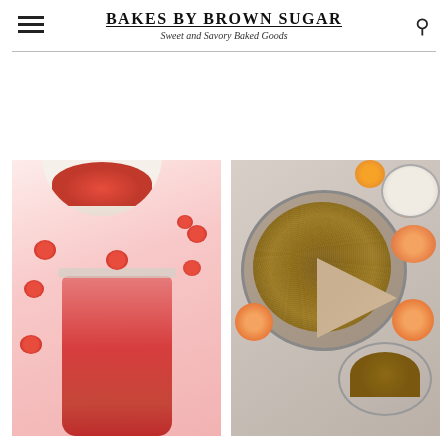BAKES BY BROWN SUGAR
Sweet and Savory Baked Goods
[Figure (photo): A jar of pink raspberry smoothie topped with a fresh raspberry, surrounded by scattered raspberries and a bowl of raspberries in the background, on a white speckled surface.]
[Figure (photo): Overhead view of a peach crumble pie with a slice removed, surrounded by fresh peaches and plates on a gray surface with flowers in the background.]